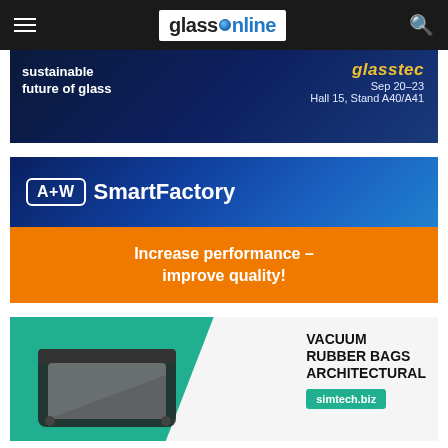glassOnline
[Figure (screenshot): glasstec advertisement banner: dark blue background with text 'sustainable future of glass', glasstec logo, 'Sep 20-23', 'Hall 15, Stand A40/A41']
[Figure (screenshot): A+W SmartFactory advertisement: blue top section with A+W logo badge and 'SmartFactory' text, orange bottom section with text 'Increase performance – improve quality!']
[Figure (screenshot): Simtech advertisement: teal/green background with vacuum rubber bag product image, text 'VACUUM RUBBER BAGS ARCHITECTURAL' and 'simtech.biz' button]